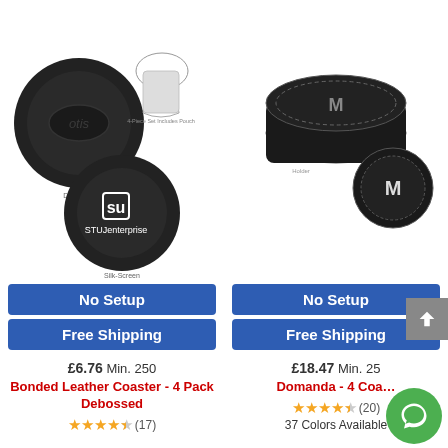[Figure (photo): Product photo of Bonded Leather Coaster 4 Pack Debossed — black round coasters with debossed logo and silk screen logo shown, with drawstring pouch, on white background]
[Figure (photo): Product photo of Domanda 4 Coaster set — black leather round coasters stacked in holder with M logo, on white background]
No Setup
Free Shipping
No Setup
Free Shipping
£6.76 Min. 250
£18.47 Min. 25
Bonded Leather Coaster - 4 Pack Debossed
Domanda - 4 Coa...
(17)
(20)
37 Colors Available